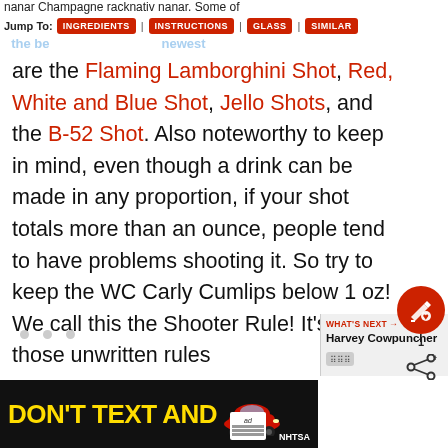Jump To: INGREDIENTS | INSTRUCTIONS | GLASS | SIMILAR
are the Flaming Lamborghini Shot, Red, White and Blue Shot, Jello Shots, and the B-52 Shot. Also noteworthy to keep in mind, even though a drink can be made in any proportion, if your shot totals more than an ounce, people tend to have problems shooting it. So try to keep the WC Carly Cumlips below 1 oz! We call this the Shooter Rule! It's one of those unwritten rules
[Figure (screenshot): Advertisement banner at bottom: black background with yellow 'DON'T TEXT AND' text in bold, red car illustration, ad badge, NHTSA logo]
[Figure (infographic): What's Next panel showing Harvey Cowpuncher entry with share icons and edit button overlay]